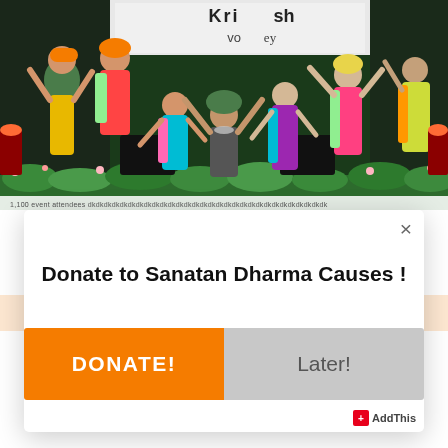[Figure (photo): Group of dancers in colorful traditional Indian costumes performing on a stage. A banner in the background reads 'Krishna Valley'. Dancers wear vibrant saris, turbans and accessories in green, orange, pink, blue, yellow and other colors.]
1,100 event attendees dkdkdkdkdkdkdkdkdk…
Donate to Sanatan Dharma Causes !
DONATE!
Later!
AddThis